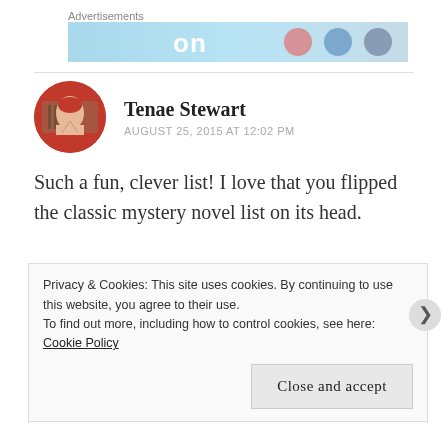Advertisements
[Figure (screenshot): Advertisement banner with light blue background showing partial text/logos]
Tenae Stewart
AUGUST 25, 2015 AT 12:02 PM
Such a fun, clever list! I love that you flipped the classic mystery novel list on its head.
Privacy & Cookies: This site uses cookies. By continuing to use this website, you agree to their use. To find out more, including how to control cookies, see here: Cookie Policy
Close and accept